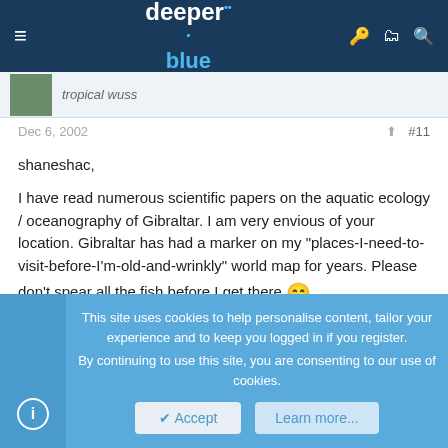deeper blue (navigation bar with logo and icons)
tropical wuss
Dec 6, 2002  #11
shaneshac,

I have read numerous scientific papers on the aquatic ecology / oceanography of Gibraltar. I am very envious of your location. Gibraltar has had a marker on my "places-I-need-to-visit-before-I'm-old-and-wrinkly" world map for years. Please don't spear all the fish before I get there 😁 .

Ted
This site uses cookies to help personalise content, tailor your experience and to keep you logged in if you register.
By continuing to use this site, you are consenting to our use of cookies.
Accept  Learn more...